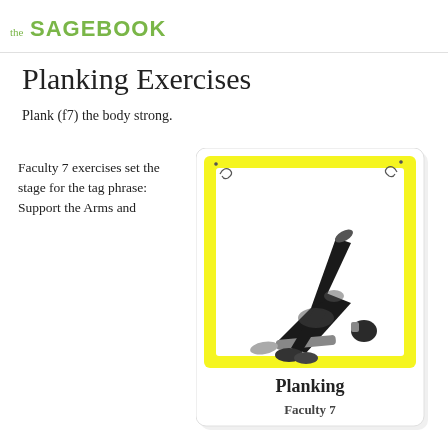the SAGEBOOK
Planking Exercises
Plank (f7) the body strong.
Faculty 7 exercises set the stage for the tag phrase: Support the Arms and
[Figure (illustration): Exercise card with yellow wavy border showing a person performing a bridge/planking exercise lying on their back with hips raised and one leg extended upward, wearing black clothing. Card title reads 'Planking' with subtitle 'Faculty 7'.]